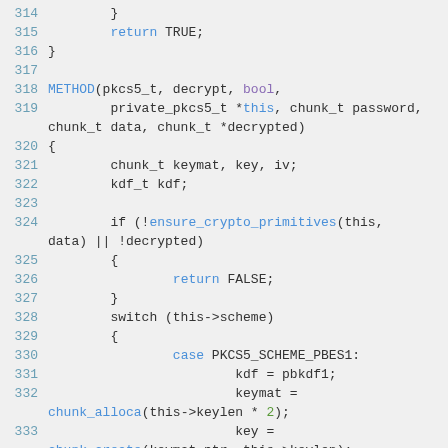Code listing lines 314-334: C source code for pkcs5_t decrypt method
[Figure (screenshot): Source code snippet showing lines 314-334 of a C program implementing PKCS5 decryption method with function calls to ensure_crypto_primitives, chunk_alloca, and chunk_create]